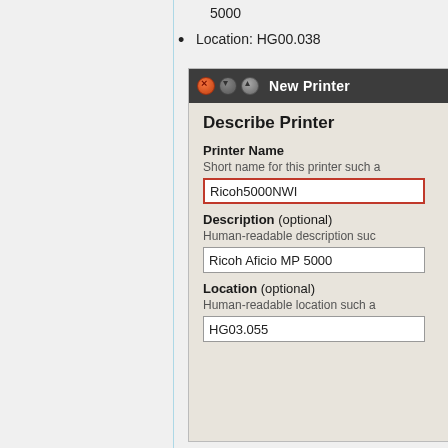5000
Location: HG00.038
[Figure (screenshot): Screenshot of a 'New Printer' dialog window on Ubuntu Linux. The window shows a 'Describe Printer' form with fields: Printer Name (filled with 'Ricoh5000NWI', highlighted with red border), Description optional (filled with 'Ricoh Aficio MP 5000'), and Location optional (filled with 'HG03.055').]